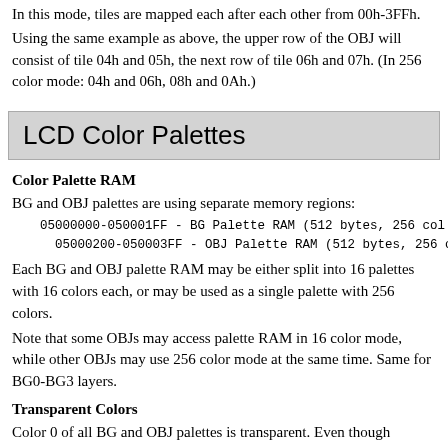In this mode, tiles are mapped each after each other from 00h-3FFh.
Using the same example as above, the upper row of the OBJ will consist of tile 04h and 05h, the next row of tile 06h and 07h. (In 256 color mode: 04h and 06h, 08h and 0Ah.)
LCD Color Palettes
Color Palette RAM
BG and OBJ palettes are using separate memory regions:
05000000-050001FF - BG Palette RAM (512 bytes, 256 col
  05000200-050003FF - OBJ Palette RAM (512 bytes, 256 co
Each BG and OBJ palette RAM may be either split into 16 palettes with 16 colors each, or may be used as a single palette with 256 colors.
Note that some OBJs may access palette RAM in 16 color mode, while other OBJs may use 256 color mode at the same time. Same for BG0-BG3 layers.
Transparent Colors
Color 0 of all BG and OBJ palettes is transparent. Even though palettes are described as 16 (256) color palettes, only 15 (255) colors are actually visible.